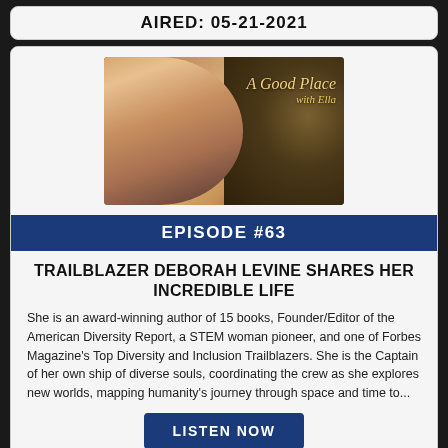AIRED: 05-21-2021
[Figure (photo): Podcast cover art for 'A Good Place with Ella' showing a blonde woman and golden sparkle background with text overlay]
EPISODE #63
TRAILBLAZER DEBORAH LEVINE SHARES HER INCREDIBLE LIFE
She is an award-winning author of 15 books, Founder/Editor of the American Diversity Report, a STEM woman pioneer, and one of Forbes Magazine's Top Diversity and Inclusion Trailblazers. She is the Captain of her own ship of diverse souls, coordinating the crew as she explores new worlds, mapping humanity's journey through space and time to...
LISTEN NOW